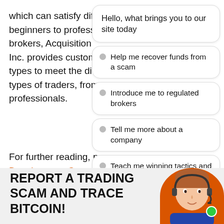which can satisfy dif beginners to profess brokers, Acquisition Inc. provides custom types to meet the di types of traders, from professionals.
For further reading, Development Consul
[Figure (screenshot): Chat widget overlay with greeting bubble 'Hello, what brings you to our site today' and menu options: Help me recover funds from a scam, Introduce me to regulated brokers, Tell me more about a company, Teach me winning tactics and strategies, Help me avoid trading (partially visible)]
REPORT A TRADING SCAM AND TRACE BITCOIN!